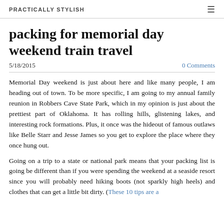PRACTICALLY STYLISH
packing for memorial day weekend train travel
5/18/2015   0 Comments
Memorial Day weekend is just about here and like many people, I am heading out of town. To be more specific, I am going to my annual family reunion in Robbers Cave State Park, which in my opinion is just about the prettiest part of Oklahoma. It has rolling hills, glistening lakes, and interesting rock formations. Plus, it once was the hideout of famous outlaws like Belle Starr and Jesse James so you get to explore the place where they once hung out.
Going on a trip to a state or national park means that your packing list is going be different than if you were spending the weekend at a seaside resort since you will probably need hiking boots (not sparkly high heels) and clothes that can get a little bit dirty. (These 10 tips are a